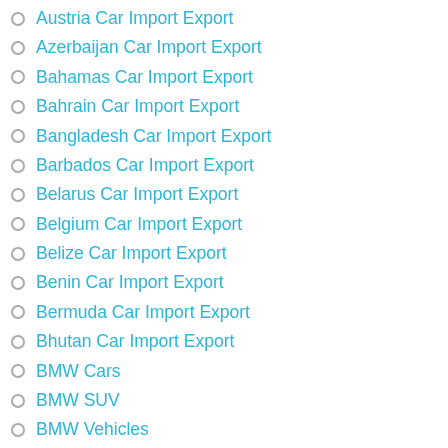Austria Car Import Export
Azerbaijan Car Import Export
Bahamas Car Import Export
Bahrain Car Import Export
Bangladesh Car Import Export
Barbados Car Import Export
Belarus Car Import Export
Belgium Car Import Export
Belize Car Import Export
Benin Car Import Export
Bermuda Car Import Export
Bhutan Car Import Export
BMW Cars
BMW SUV
BMW Vehicles
Bolivia Car Import Export
Bonaire, Saint Eustatius and Saba Car Import Export
Bosnia and Herzegovina Car Import Export
Botswana Car Import Export